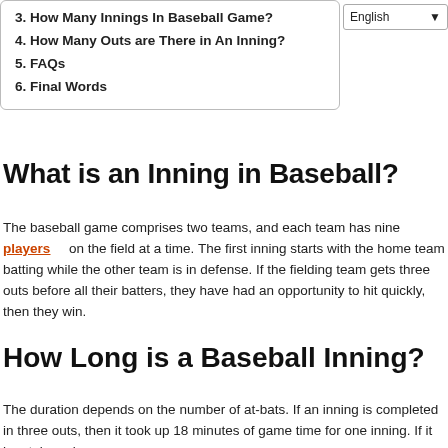3. How Many Innings In Baseball Game?
4. How Many Outs are There in An Inning?
5. FAQs
6. Final Words
What is an Inning in Baseball?
The baseball game comprises two teams, and each team has nine players on the field at a time. The first inning starts with the home team batting while the other team is in defense. If the fielding team gets three outs before all their batters, they have had an opportunity to hit quickly, then they win.
How Long is a Baseball Inning?
The duration depends on the number of at-bats. If an inning is completed in three outs, then it took up 18 minutes of game time for one inning. If it has taken nine